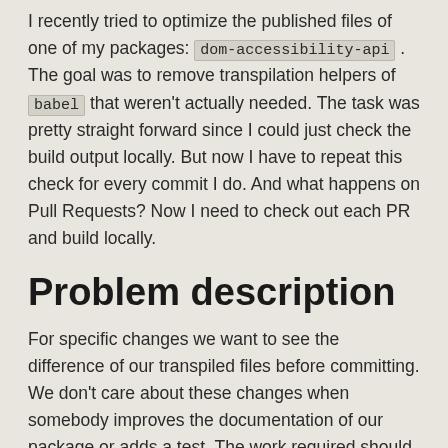I recently tried to optimize the published files of one of my packages: dom-accessibility-api . The goal was to remove transpilation helpers of babel that weren't actually needed. The task was pretty straight forward since I could just check the build output locally. But now I have to repeat this check for every commit I do. And what happens on Pull Requests? Now I need to check out each PR and build locally.
Problem description
For specific changes we want to see the difference of our transpiled files before committing. We don't care about these changes when somebody improves the documentation of our package or adds a test. The work required should be minimal. The holy grail is that we don't have to check out anything locally to reduce context switches.